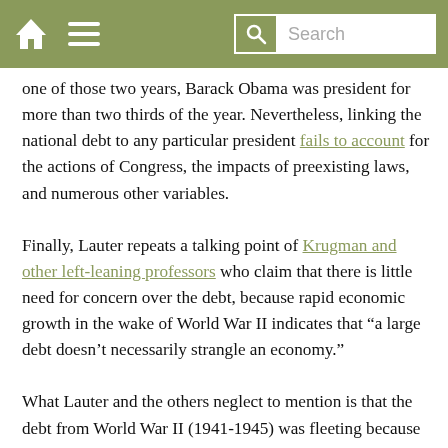[Navigation bar with home icon, menu icon, search icon, and search box]
one of those two years, Barack Obama was president for more than two thirds of the year. Nevertheless, linking the national debt to any particular president fails to account for the actions of Congress, the impacts of preexisting laws, and numerous other variables.
Finally, Lauter repeats a talking point of Krugman and other left-leaning professors who claim that there is little need for concern over the debt, because rapid economic growth in the wake of World War II indicates that “a large debt doesn’t necessarily strangle an economy.”
What Lauter and the others neglect to mention is that the debt from World War II (1941-1945) was fleeting because it was quickly addressed through drastically reduced government spending. For example, by 1951, federal debt was already 11% lower than our current debt, and federal